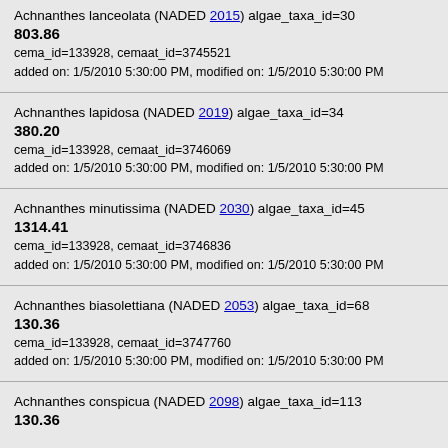Achnanthes lanceolata (NADED 2015) algae_taxa_id=30
803.86
cema_id=133928, cemaat_id=3745521
added on: 1/5/2010 5:30:00 PM, modified on: 1/5/2010 5:30:00 PM
Achnanthes lapidosa (NADED 2019) algae_taxa_id=34
380.20
cema_id=133928, cemaat_id=3746069
added on: 1/5/2010 5:30:00 PM, modified on: 1/5/2010 5:30:00 PM
Achnanthes minutissima (NADED 2030) algae_taxa_id=45
1314.41
cema_id=133928, cemaat_id=3746836
added on: 1/5/2010 5:30:00 PM, modified on: 1/5/2010 5:30:00 PM
Achnanthes biasolettiana (NADED 2053) algae_taxa_id=68
130.36
cema_id=133928, cemaat_id=3747760
added on: 1/5/2010 5:30:00 PM, modified on: 1/5/2010 5:30:00 PM
Achnanthes conspicua (NADED 2098) algae_taxa_id=113
130.36